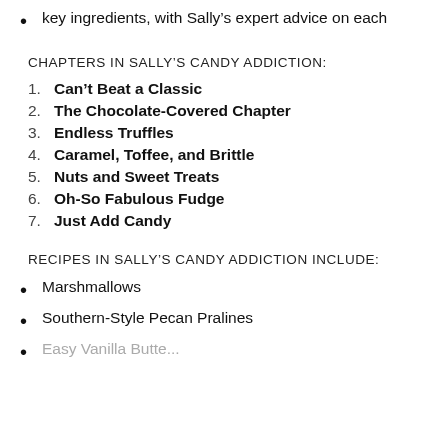key ingredients, with Sally's expert advice on each
CHAPTERS IN SALLY'S CANDY ADDICTION:
1. Can't Beat a Classic
2. The Chocolate-Covered Chapter
3. Endless Truffles
4. Caramel, Toffee, and Brittle
5. Nuts and Sweet Treats
6. Oh-So Fabulous Fudge
7. Just Add Candy
RECIPES IN SALLY'S CANDY ADDICTION INCLUDE:
Marshmallows
Southern-Style Pecan Pralines
Easy Vanilla Butter...